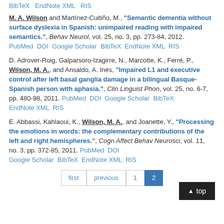BibTeX  EndNote XML  RIS
M. A. Wilson and Martínez-Cuitiño, M., "Semantic dementia without surface dyslexia in Spanish: unimpaired reading with impaired semantics.", Behav Neurol, vol. 25, no. 3, pp. 273-84, 2012. PubMed DOI Google Scholar BibTeX EndNote XML RIS
D. Adrover-Roig, Galparsoro-Izagirre, N., Marcotte, K., Ferré, P., Wilson, M. A., and Ansaldo, A. Inés, "Impaired L1 and executive control after left basal ganglia damage in a bilingual Basque-Spanish person with aphasia.", Clin Linguist Phon, vol. 25, no. 6-7, pp. 480-98, 2011. PubMed DOI Google Scholar BibTeX EndNote XML RIS
E. Abbassi, Kahlaoui, K., Wilson, M. A., and Joanette, Y., "Processing the emotions in words: the complementary contributions of the left and right hemispheres.", Cogn Affect Behav Neurosci, vol. 11, no. 3, pp. 372-85, 2011. PubMed DOI Google Scholar BibTeX EndNote XML RIS
first  previous  1  2